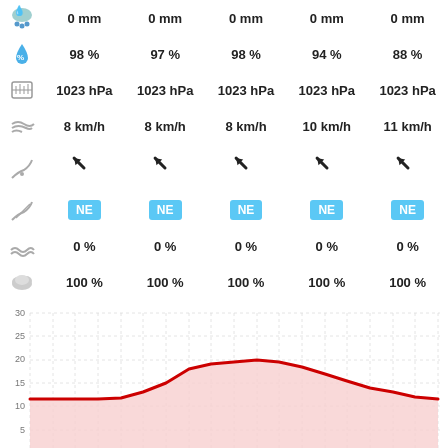| Icon | Col1 | Col2 | Col3 | Col4 | Col5 |
| --- | --- | --- | --- | --- | --- |
| rain | 0 mm | 0 mm | 0 mm | 0 mm | 0 mm |
| humidity | 98 % | 97 % | 98 % | 94 % | 88 % |
| pressure | 1023 hPa | 1023 hPa | 1023 hPa | 1023 hPa | 1023 hPa |
| wind speed | 8 km/h | 8 km/h | 8 km/h | 10 km/h | 11 km/h |
| wind direction arrows | ↙ | ↙ | ↙ | ↙ | ↙ |
| wind direction | NE | NE | NE | NE | NE |
| waves | 0 % | 0 % | 0 % | 0 % | 0 % |
| cloud cover | 100 % | 100 % | 100 % | 100 % | 100 % |
[Figure (line-chart): Temperature over time]